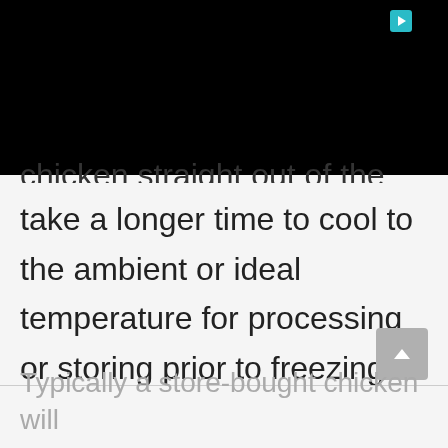[Figure (screenshot): Black area at top of page representing a video or image area with a teal play button icon in the upper right corner]
chicken straight out of the oven will take a longer time to cool to the ambient or ideal temperature for processing or storing prior to freezing.
Typically a store-bought chicken will